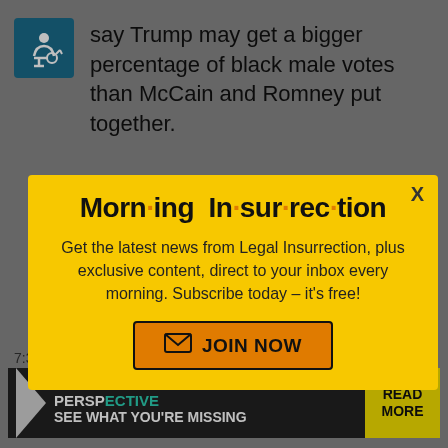say Trump may get a bigger percentage of black male votes than McCain and Romney put together.
Morn·ing In·sur·rec·tion
Get the latest news from Legal Insurrection, plus exclusive content, direct to your inbox every morning. Subscribe today – it's free!
JOIN NOW
intelligent yo... black female.
Back to top
7:34 pm
[Figure (screenshot): Ad banner: THE PERSPECTIVE - SEE WHAT YOU'RE MISSING - READ MORE]